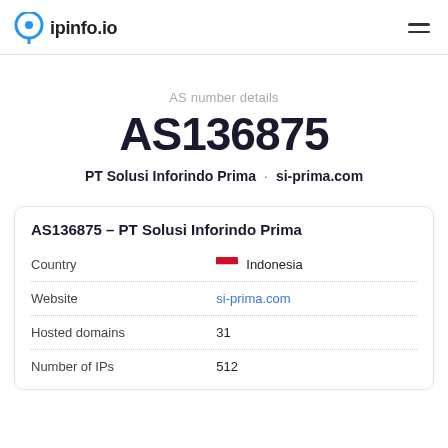ipinfo.io
AS number details
AS136875
PT Solusi Inforindo Prima · si-prima.com
|  |  |
| --- | --- |
| AS136875 – PT Solusi Inforindo Prima |  |
| Country | 🇮🇩 Indonesia |
| Website | si-prima.com |
| Hosted domains | 31 |
| Number of IPs | 512 |